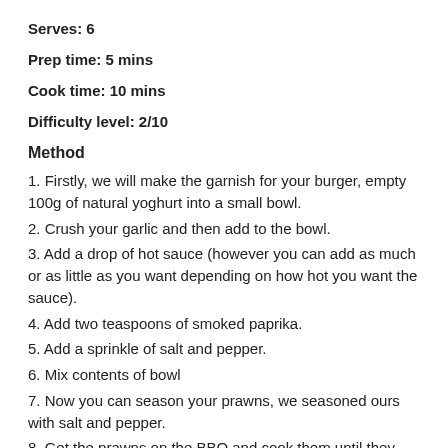Serves: 6
Prep time: 5 mins
Cook time: 10 mins
Difficulty level: 2/10
Method
1. Firstly, we will make the garnish for your burger, empty 100g of natural yoghurt into a small bowl.
2. Crush your garlic and then add to the bowl.
3. Add a drop of hot sauce (however you can add as much or as little as you want depending on how hot you want the sauce).
4. Add two teaspoons of smoked paprika.
5. Add a sprinkle of salt and pepper.
6. Mix contents of bowl
7. Now you can season your prawns, we seasoned ours with salt and pepper.
8. Get the prawns on the BBQ and cook them until they are pink and opaque.